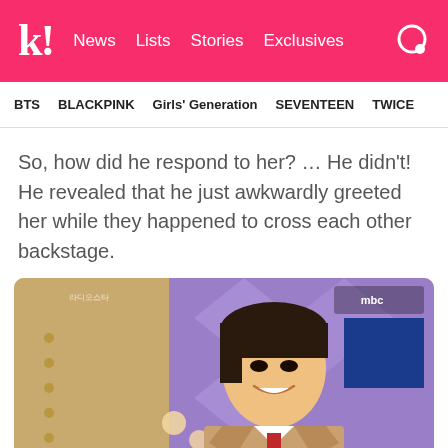k! News Lists Stories Exclusives
BTS   BLACKPINK   Girls' Generation   SEVENTEEN   TWICE
So, how did he respond to her? … He didn't! He revealed that he just awkwardly greeted her while they happened to cross each other backstage.
[Figure (photo): A young Korean male celebrity smiling warmly while seated on a TV show set, wearing a beige blazer. The MBC logo is visible in the upper right corner of the screen. The background shows a purple diamond-patterned set with gold metallic panels.]